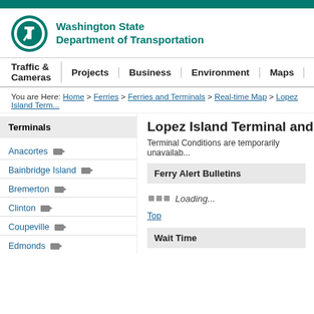Washington State Department of Transportation
Traffic & Cameras | Projects | Business | Environment | Maps
You are Here: Home > Ferries > Ferries and Terminals > Real-time Map > Lopez Island Term...
Lopez Island Terminal and Camera
Terminal Conditions are temporarily unavailable
Ferry Alert Bulletins
Loading...
Top
Wait Time
Terminals
Anacortes
Bainbridge Island
Bremerton
Clinton
Coupeville
Edmonds